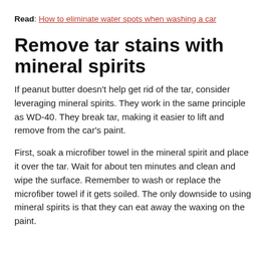Read: How to eliminate water spots when washing a car
Remove tar stains with mineral spirits
If peanut butter doesn't help get rid of the tar, consider leveraging mineral spirits. They work in the same principle as WD-40. They break tar, making it easier to lift and remove from the car's paint.
First, soak a microfiber towel in the mineral spirit and place it over the tar. Wait for about ten minutes and clean and wipe the surface. Remember to wash or replace the microfiber towel if it gets soiled. The only downside to using mineral spirits is that they can eat away the waxing on the paint.